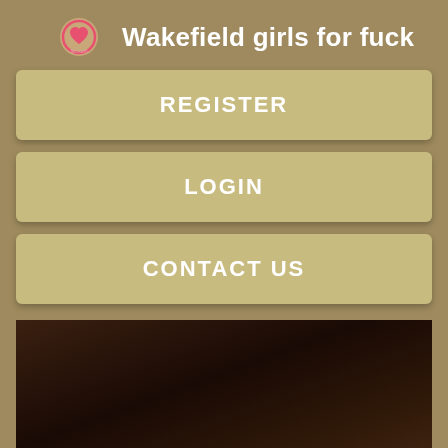Wakefield girls for fuck
REGISTER
LOGIN
CONTACT US
[Figure (photo): Dark reddish-brown blurred background photo, appears to be a person/profile image mostly obscured in darkness]
Shy but at my age would love to meet a genuine man to laugh and share my life. Hate idle chat, hate those 'funny silly films'